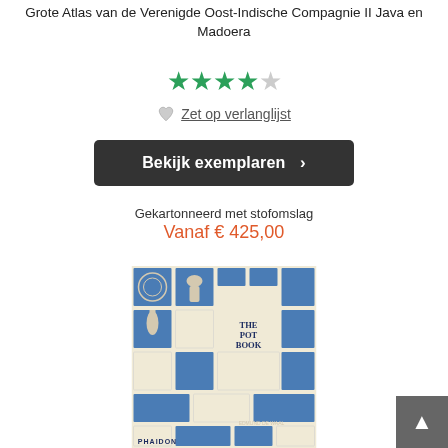Grote Atlas van de Verenigde Oost-Indische Compagnie II Java en Madoera
[Figure (other): 4 filled green stars and 1 empty/grey star rating]
Zet op verlanglijst
Bekijk exemplaren ❯
Gekartonneerd met stofomslag
Vanaf € 425,00
[Figure (photo): Book cover of 'The Pot Book' by Edmund de Waal, published by Phaidon. Cover shows a grid of blue and cream squares, each containing images of ceramic pots and pottery objects.]